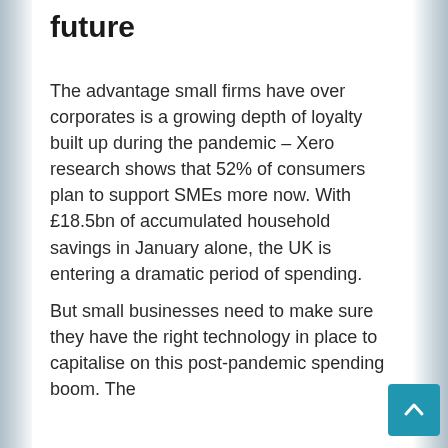future
The advantage small firms have over corporates is a growing depth of loyalty built up during the pandemic – Xero research shows that 52% of consumers plan to support SMEs more now. With £18.5bn of accumulated household savings in January alone, the UK is entering a dramatic period of spending.
But small businesses need to make sure they have the right technology in place to capitalise on this post-pandemic spending boom. The